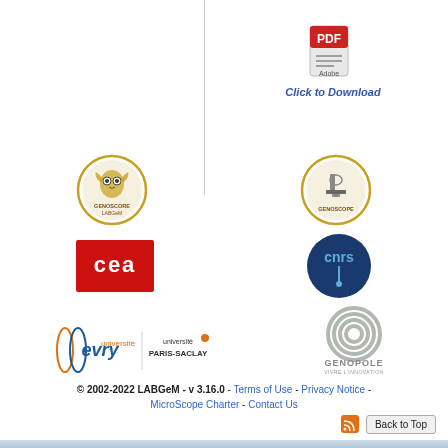[Figure (logo): PDF Adobe icon with 'Click to Download' link]
[Figure (logo): Genoscore LABGeM circular logo (owl)]
[Figure (logo): Genoscope circular logo (microscope)]
[Figure (logo): CEA red square logo]
[Figure (logo): CNRS dark blue circular logo]
[Figure (logo): Université Evry / Université Paris-Saclay logos]
[Figure (logo): Genopole logo (circular DNA pattern)]
© 2002-2022 LABGeM - v 3.16.0 - Terms of Use - Privacy Notice - MicroScope Charter - Contact Us
Back to Top